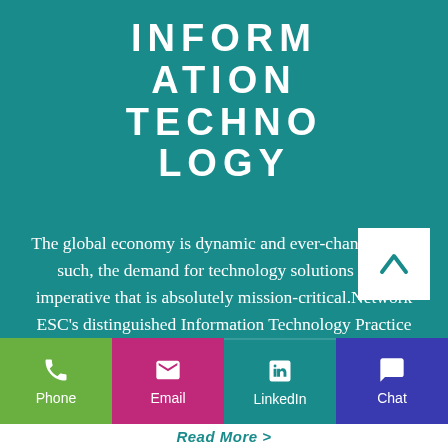INFORMATION TECHNOLOGY
The global economy is dynamic and ever-changing. As such, the demand for technology solutions is an imperative that is absolutely mission-critical.Network ESC's distinguished Information Technology Practice employs some of the brightest and most experienced minds in the technology recruitment
[Figure (infographic): Bottom navigation bar with Phone, Email, LinkedIn, Chat icons in colored boxes, and a Read More button]
Read More >